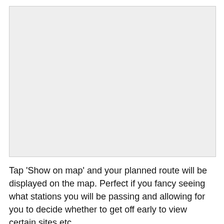[Figure (map): A blank/empty light grey rectangular area representing a map placeholder.]
Tap 'Show on map' and your planned route will be displayed on the map. Perfect if you fancy seeing what stations you will be passing and allowing for you to decide whether to get off early to view certain sites etc.